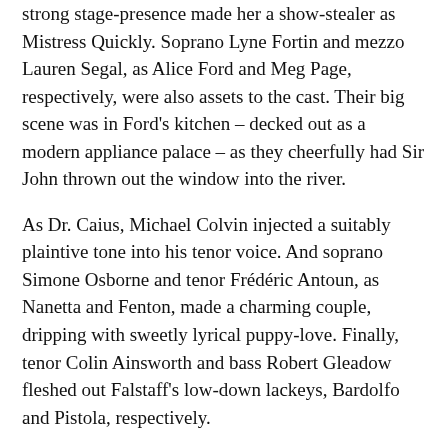strong stage-presence made her a show-stealer as Mistress Quickly. Soprano Lyne Fortin and mezzo Lauren Segal, as Alice Ford and Meg Page, respectively, were also assets to the cast. Their big scene was in Ford's kitchen – decked out as a modern appliance palace – as they cheerfully had Sir John thrown out the window into the river.
As Dr. Caius, Michael Colvin injected a suitably plaintive tone into his tenor voice. And soprano Simone Osborne and tenor Frédéric Antoun, as Nanetta and Fenton, made a charming couple, dripping with sweetly lyrical puppy-love. Finally, tenor Colin Ainsworth and bass Robert Gleadow fleshed out Falstaff's low-down lackeys, Bardolfo and Pistola, respectively.
On the podium, COC music director Johannes Debus kept the pace taut and lively. Under his baton, the COC Orchestra's playing was deft and detailed, his musicians skilfully negotiating every twist and turn in Verdi's score.